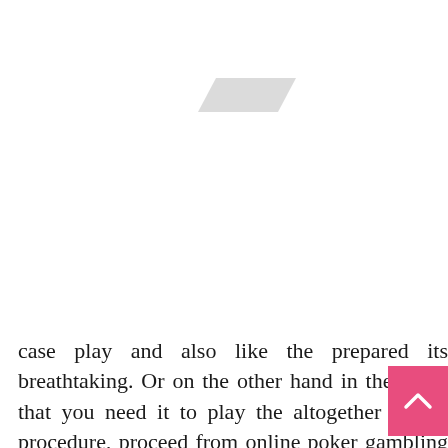[Figure (other): A small grey parallelogram / placeholder image graphic centered in the upper portion of the page.]
case play and also like the prepared its breathtaking. Or on the other hand in the event that you need it to play the altogether secure procedure, proceed from online poker gambling and bound to among those